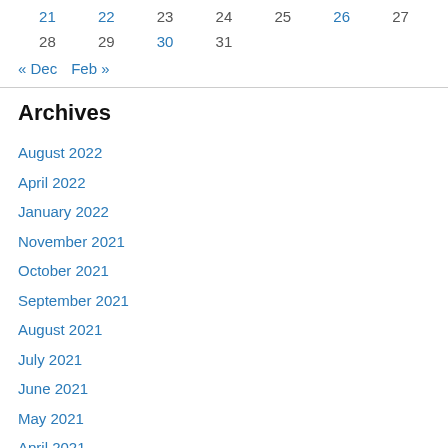| 21 | 22 | 23 | 24 | 25 | 26 | 27 |
| 28 | 29 | 30 | 31 |  |  |  |
« Dec   Feb »
Archives
August 2022
April 2022
January 2022
November 2021
October 2021
September 2021
August 2021
July 2021
June 2021
May 2021
April 2021
February 2021